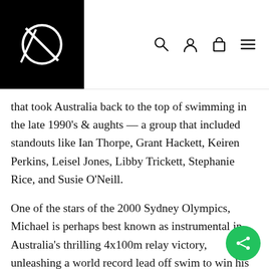[Logo with navigation icons: search, user, cart, menu]
that took Australia back to the top of swimming in the late 1990's & aughts — a group that included standouts like Ian Thorpe, Grant Hackett, Keiren Perkins, Leisel Jones, Libby Trickett, Stephanie Rice, and Susie O'Neill.
One of the stars of the 2000 Sydney Olympics, Michael is perhaps best known as instrumental in Australia's thrilling 4x100m relay victory, unleashing a world record lead off swim to win his first gold on the first night. Michael's